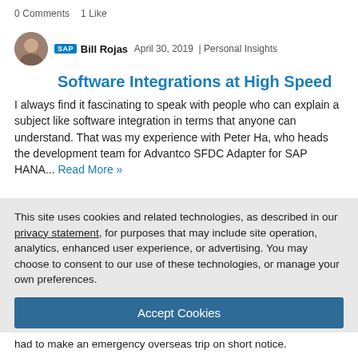0 Comments   1 Like
SAP  Bill Rojas  April 30, 2019  |  Personal Insights
Software Integrations at High Speed
I always find it fascinating to speak with people who can explain a subject like software integration in terms that anyone can understand. That was my experience with Peter Ha, who heads the development team for Advantco SFDC Adapter for SAP HANA...  Read More »
This site uses cookies and related technologies, as described in our privacy statement, for purposes that may include site operation, analytics, enhanced user experience, or advertising. You may choose to consent to our use of these technologies, or manage your own preferences.
Accept Cookies
More Information
Privacy Policy | Powered by:  TrustArc
had to make an emergency overseas trip on short notice.